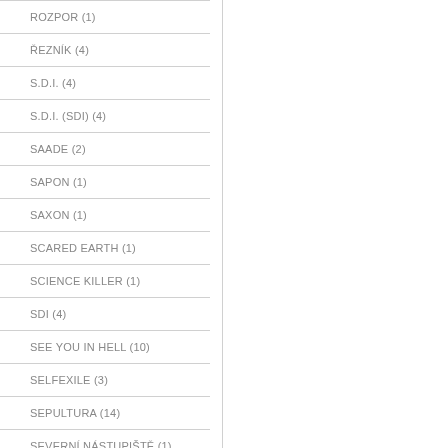ROZPOR (1)
ŘEZNÍK (4)
S.D.I. (4)
S.D.I. (SDI) (4)
SAADE (2)
SAPON (1)
SAXON (1)
SCARED EARTH (1)
SCIENCE KILLER (1)
SDI (4)
SEE YOU IN HELL (10)
SELFEXILE (3)
SEPULTURA (14)
SEVERNÍ NÁSTUPIŠTĚ (1)